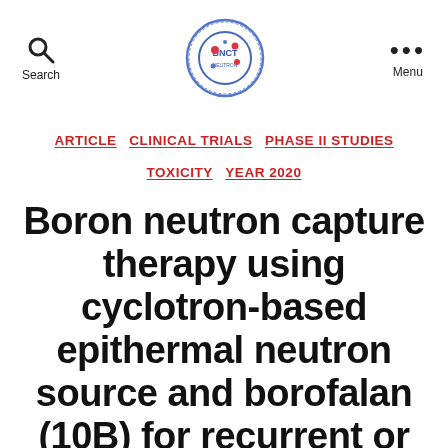Search | [Logo] | Menu
ARTICLE  CLINICAL TRIALS  PHASE II STUDIES  TOXICITY  YEAR 2020
Boron neutron capture therapy using cyclotron-based epithermal neutron source and borofalan (10B) for recurrent or locally